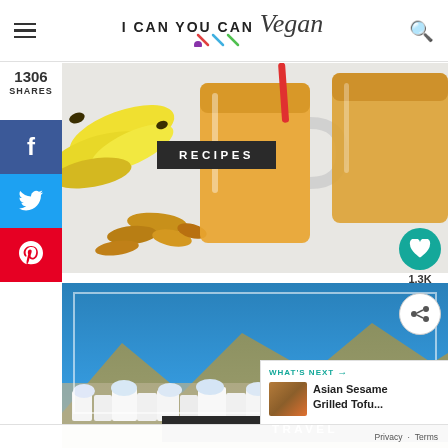I CAN YOU CAN Vegan
1306 SHARES
[Figure (photo): Two glass mason jar mugs filled with orange smoothie, surrounded by bananas, ginger root, on marble surface. A red straw is visible. A dark badge reads RECIPES.]
[Figure (photo): Santorini-style white buildings on hillside under blue sky. A dark badge reads TRAVEL.]
WHAT'S NEXT → Asian Sesame Grilled Tofu...
Privacy · Terms